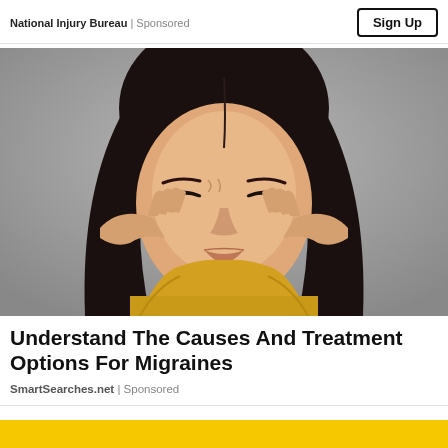National Injury Bureau | Sponsored
[Figure (photo): Woman with dark hair wearing yellow top, hands pressed to temples with eyes closed, appearing to have a migraine headache, against a grey background]
Understand The Causes And Treatment Options For Migraines
SmartSearches.net | Sponsored
[Figure (other): Yellow banner/bar at the bottom of the page]